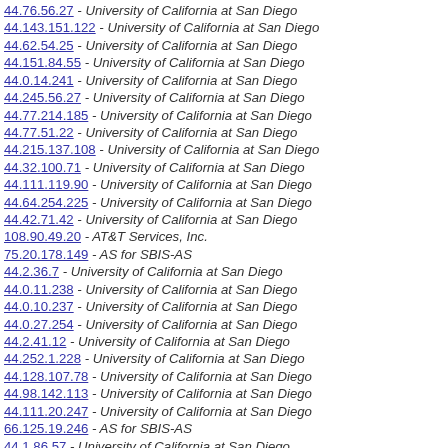44.76.56.27 - University of California at San Diego
44.143.151.122 - University of California at San Diego
44.62.54.25 - University of California at San Diego
44.151.84.55 - University of California at San Diego
44.0.14.241 - University of California at San Diego
44.245.56.27 - University of California at San Diego
44.77.214.185 - University of California at San Diego
44.77.51.22 - University of California at San Diego
44.215.137.108 - University of California at San Diego
44.32.100.71 - University of California at San Diego
44.111.119.90 - University of California at San Diego
44.64.254.225 - University of California at San Diego
44.42.71.42 - University of California at San Diego
108.90.49.20 - AT&T Services, Inc.
75.20.178.149 - AS for SBIS-AS
44.2.36.7 - University of California at San Diego
44.0.11.238 - University of California at San Diego
44.0.10.237 - University of California at San Diego
44.0.27.254 - University of California at San Diego
44.2.41.12 - University of California at San Diego
44.252.1.228 - University of California at San Diego
44.128.107.78 - University of California at San Diego
44.98.142.113 - University of California at San Diego
44.111.20.247 - University of California at San Diego
66.125.19.246 - AS for SBIS-AS
44.1.86.57 - University of California at San Diego
44.66.28.255 - University of California at San Diego
44.14.52.23 - University of California at San Diego
44.105.5.232 - University of California at San Diego
44.186.167.138 - University of California at San Diego